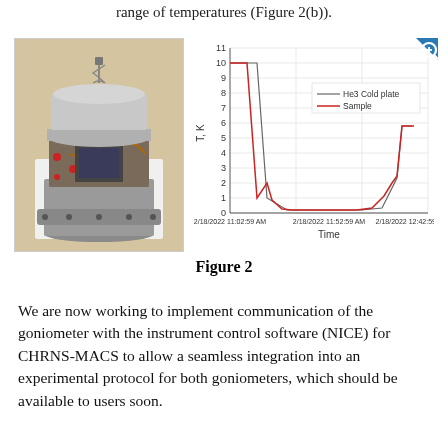range of temperatures (Figure 2(b)).
[Figure (photo): Photograph of a cylindrical metal goniometer device with internal mechanical components and copper wiring visible.]
[Figure (continuous-plot): Temperature vs Time line chart showing He3 Cold plate (gray line) and Sample (red line) cooling from ~10 K to near 0 K and back up to ~6 K over the course of 2/18/2022 from 11:02 AM to 12:42 PM.]
Figure 2
We are now working to implement communication of the goniometer with the instrument control software (NICE) for CHRNS-MACS to allow a seamless integration into an experimental protocol for both goniometers, which should be available to users soon.